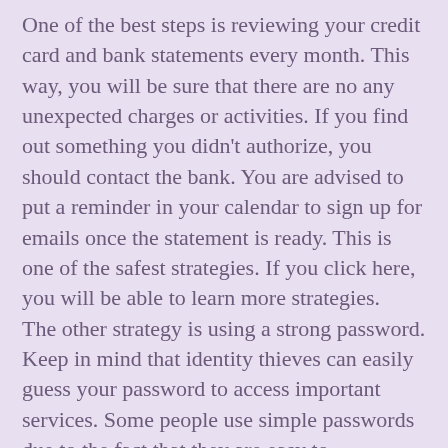One of the best steps is reviewing your credit card and bank statements every month. This way, you will be sure that there are no any unexpected charges or activities. If you find out something you didn't authorize, you should contact the bank. You are advised to put a reminder in your calendar to sign up for emails once the statement is ready. This is one of the safest strategies. If you click here, you will be able to learn more strategies. The other strategy is using a strong password. Keep in mind that identity thieves can easily guess your password to access important services. Some people use simple passwords due to the fact that they are easy to remember. They log in to different websites using the same password. This is risky because they can use one password to log in to a website that contains important information. You can prevent this by using a strong password that is combined with letters, symbols and numbers. Turn on 2-factor authentication where possible to